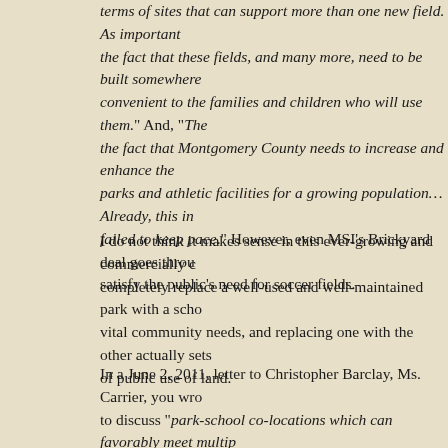terms of sites that can support more than one new field. As important as the fact that these fields, and many more, need to be built somewhere convenient to the families and children who will use them." And, "The fact that Montgomery County needs to increase and enhance the parks and athletic facilities for a growing population… Already, this in failed to keep pace." However, even MSI's Brickyard deal goes through, satisfy the public's need for soccer fields.
I do not think it makes sense in this ever-growing and commercially completely replace a well-used and well-maintained park with a school vital community needs, and replacing one with the other actually sets of public use of land.
In a June 2, 2011, letter to Christopher Barclay, Ms. Carrier, you wrote to discuss "park-school co-locations which can favorably meet multiple provided the available acreage is sufficient," adding that "substantive discussions" need to take place concerning the use of park property system's unanticipated and urgent need for land. Are you still committed
Rock Creek Hills does not meet the standard of "park-school co-location park will be lost completely. In January, MCPS said that 10.1 flat acres minimum for building a middle school. At 11 buildable acres, with ste